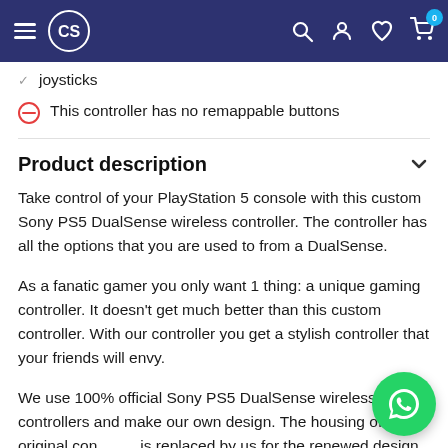Navigation bar with menu icon, CS logo, search, account, wishlist, and cart (0) icons
joysticks
This controller has no remappable buttons
Product description
Take control of your PlayStation 5 console with this custom Sony PS5 DualSense wireless controller. The controller has all the options that you are used to from a DualSense.
As a fanatic gamer you only want 1 thing: a unique gaming controller. It doesn't get much better than this custom controller. With our controller you get a stylish controller that your friends will envy.
We use 100% official Sony PS5 DualSense wireless controllers and make our own design. The housing of the original con is replaced by us for the renewed design. Enjoy a unique evolved design with iconic layout and improved joysticks.